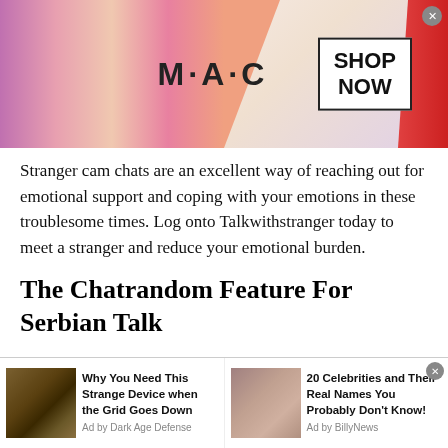[Figure (screenshot): MAC cosmetics advertisement banner with lipsticks on left, MAC logo text in center, SHOP NOW box on right, and close button]
Stranger cam chats are an excellent way of reaching out for emotional support and coping with your emotions in these troublesome times. Log onto Talkwithstranger today to meet a stranger and reduce your emotional burden.
The Chatrandom Feature For Serbian Talk
After other online chatting platforms went viral, we have been trying to provide our users with similar features to
[Figure (screenshot): Bottom advertisement strip with two ad items: 1) gear/device image with text 'Why You Need This Strange Device when the Grid Goes Down' Ad by Dark Age Defense, 2) celebrity woman photo with text '20 Celebrities and Their Real Names You Probably Don't Know!' Ad by BillyNews]